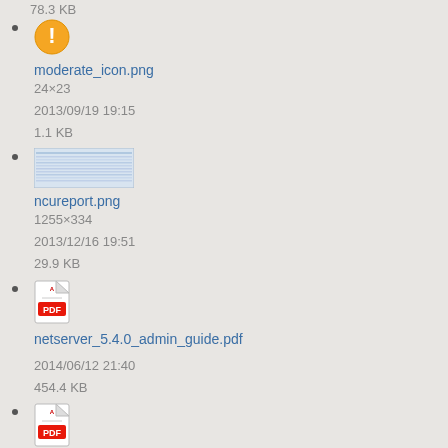78.3 KB
moderate_icon.png
24×23
2013/09/19 19:15
1.1 KB
ncureport.png
1255×334
2013/12/16 19:51
29.9 KB
netserver_5.4.0_admin_guide.pdf
2014/06/12 21:40
454.4 KB
netserver_6.0.0_admin_guide.pdf